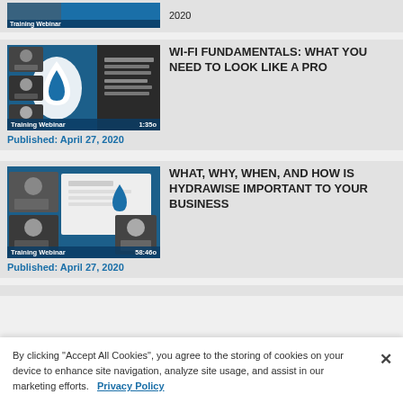[Figure (screenshot): Partial training webinar thumbnail for first card (cropped at top), with label 'Training Webinar' and date '2020']
[Figure (screenshot): Training webinar thumbnail with Hydrawise logo (water drop) on blue background, speakers on left, text overlay 'Hydrawise Insights from the Field Session #1 – Wi-Fi for Green Industry Professionals', label 'Training Webinar 1:35']
WI-FI FUNDAMENTALS: WHAT YOU NEED TO LOOK LIKE A PRO
Published: April 27, 2020
[Figure (screenshot): Training webinar thumbnail with three people photos and Hydrawise logo (water drop) on blue background, label 'Training Webinar 58:46']
WHAT, WHY, WHEN, AND HOW IS HYDRAWISE IMPORTANT TO YOUR BUSINESS
Published: April 27, 2020
By clicking "Accept All Cookies", you agree to the storing of cookies on your device to enhance site navigation, analyze site usage, and assist in our marketing efforts.   Privacy Policy